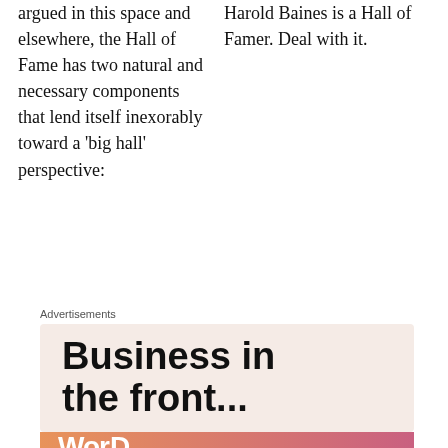argued in this space and elsewhere, the Hall of Fame has two natural and necessary components that lend itself inexorably toward a 'big hall' perspective:
Harold Baines is a Hall of Famer. Deal with it.
Advertisements
[Figure (other): Advertisement banner with text 'Business in the front...' on a light peach background, and a partial second banner with colorful gradient (orange to pink) at bottom.]